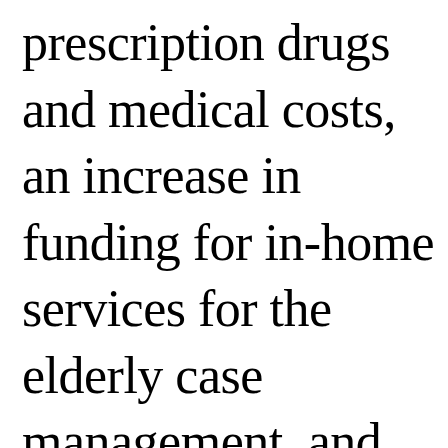prescription drugs and medical costs, an increase in funding for in-home services for the elderly case management, and an